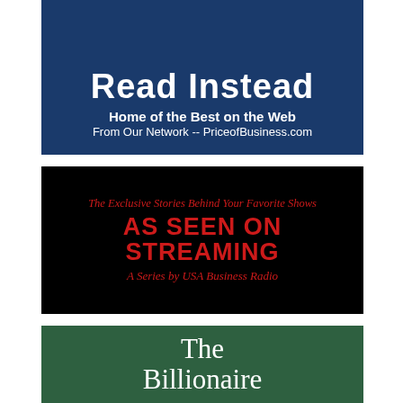[Figure (infographic): Dark blue banner with bold white text: large heading (partially cut off at top), 'Home of the Best on the Web', 'From Our Network -- PriceofBusiness.com']
[Figure (infographic): Black banner with red italic text: 'The Exclusive Stories Behind Your Favorite Shows', large bold 'AS SEEN ON STREAMING', italic 'A Series by USA Business Radio']
[Figure (infographic): Dark green banner with white serif text: 'The' on first line, 'Billionaire' (partially cut off) on second line]